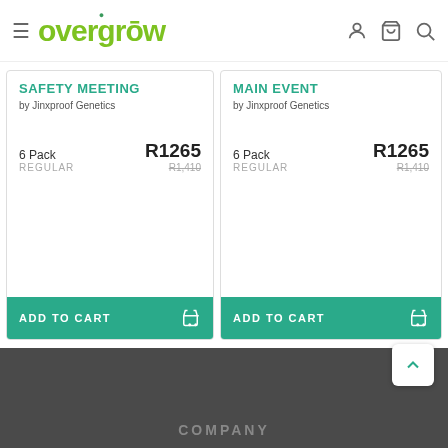overgrow
SAFETY MEETING
by Jinxproof Genetics
6 Pack
REGULAR
R1265
R1,410
ADD TO CART
MAIN EVENT
by Jinxproof Genetics
6 Pack
REGULAR
R1265
R1,410
ADD TO CART
COMPANY